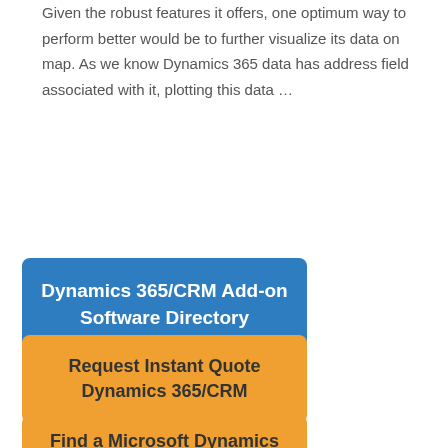Given the robust features it offers, one optimum way to perform better would be to further visualize its data on map. As we know Dynamics 365 data has address field associated with it, plotting this data …
Read More »
Dynamics 365/CRM Add-on Software Directory
Request Instant Quote Dynamics 365/CRM
Find a Microsoft Dynamics